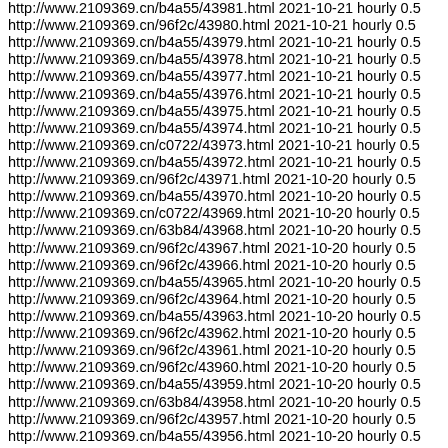http://www.2109369.cn/b4a55/43981.html 2021-10-21 hourly 0.5
http://www.2109369.cn/96f2c/43980.html 2021-10-21 hourly 0.5
http://www.2109369.cn/b4a55/43979.html 2021-10-21 hourly 0.5
http://www.2109369.cn/b4a55/43978.html 2021-10-21 hourly 0.5
http://www.2109369.cn/b4a55/43977.html 2021-10-21 hourly 0.5
http://www.2109369.cn/b4a55/43976.html 2021-10-21 hourly 0.5
http://www.2109369.cn/b4a55/43975.html 2021-10-21 hourly 0.5
http://www.2109369.cn/b4a55/43974.html 2021-10-21 hourly 0.5
http://www.2109369.cn/c0722/43973.html 2021-10-21 hourly 0.5
http://www.2109369.cn/b4a55/43972.html 2021-10-21 hourly 0.5
http://www.2109369.cn/96f2c/43971.html 2021-10-20 hourly 0.5
http://www.2109369.cn/b4a55/43970.html 2021-10-20 hourly 0.5
http://www.2109369.cn/c0722/43969.html 2021-10-20 hourly 0.5
http://www.2109369.cn/63b84/43968.html 2021-10-20 hourly 0.5
http://www.2109369.cn/96f2c/43967.html 2021-10-20 hourly 0.5
http://www.2109369.cn/96f2c/43966.html 2021-10-20 hourly 0.5
http://www.2109369.cn/b4a55/43965.html 2021-10-20 hourly 0.5
http://www.2109369.cn/96f2c/43964.html 2021-10-20 hourly 0.5
http://www.2109369.cn/b4a55/43963.html 2021-10-20 hourly 0.5
http://www.2109369.cn/96f2c/43962.html 2021-10-20 hourly 0.5
http://www.2109369.cn/96f2c/43961.html 2021-10-20 hourly 0.5
http://www.2109369.cn/96f2c/43960.html 2021-10-20 hourly 0.5
http://www.2109369.cn/b4a55/43959.html 2021-10-20 hourly 0.5
http://www.2109369.cn/63b84/43958.html 2021-10-20 hourly 0.5
http://www.2109369.cn/96f2c/43957.html 2021-10-20 hourly 0.5
http://www.2109369.cn/b4a55/43956.html 2021-10-20 hourly 0.5